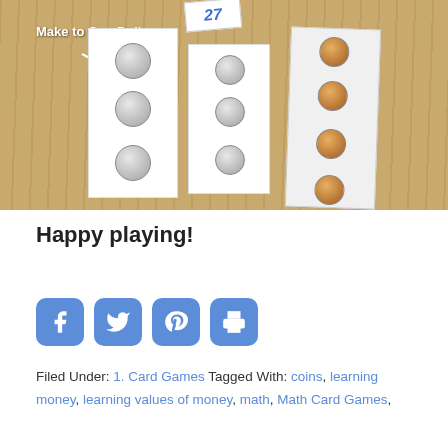[Figure (photo): Photo of a 'Make to One Dollar' card game on a wooden table. Cards with coins (quarters, dimes, pennies) are arranged. A label reads 'Make to One Dollar' with an arrow, and a number card shows '27'.]
Happy playing!
[Figure (infographic): Social sharing buttons: Facebook, Twitter, Pinterest, Print]
Filed Under: 1. Card Games Tagged With: coins, learning money, learning values of money, math, Math Card Games,